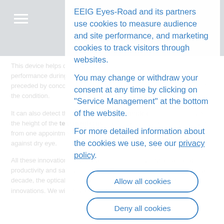[Figure (screenshot): Website header with dark gray background, hamburger menu icon on left, and 'YES-ROAD' logo text on right in large faded white letters]
This device helps detect areas of tear film surface rupture. Its performance during the clinical check evaluates the hyperemia, preceded by concomitant inflammatory phenomena characteristic of the condition.
It can also detect the presence of the Demodex parasite, calculate the height of the tear meniscus and follow the evolution of the patient from one appointment. In short, a tool of capital importance in the fight against dry eye.
All these innovations make it possible to improve living, working, productivity and safety conditions. There is no doubt that in this new decade, the optical sector will continue to offer us high-performance innovations. We will let you know!
EEIG Eyes-Road and its partners use cookies to measure audience and site performance, and marketing cookies to track visitors through websites.
You may change or withdraw your consent at any time by clicking on "Service Management" at the bottom of the website.
For more detailed information about the cookies we use, see our privacy policy.